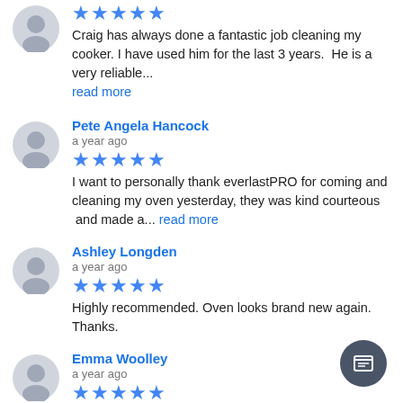★★★★★ Craig has always done a fantastic job cleaning my cooker. I have used him for the last 3 years.  He is a very reliable... read more
Pete Angela Hancock
a year ago
★★★★★ I want to personally thank everlastPRO for coming and cleaning my oven yesterday, they was kind courteous  and made a... read more
Ashley Longden
a year ago
★★★★★ Highly recommended. Oven looks brand new again. Thanks.
Emma Woolley
a year ago
★★★★★ Excellent services my ove... like brand new very professional & reliable... definitely use again